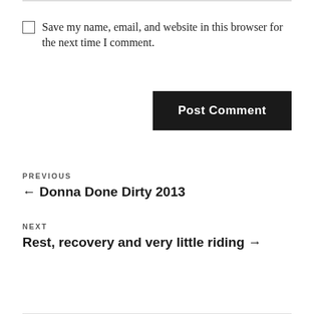Save my name, email, and website in this browser for the next time I comment.
Post Comment
PREVIOUS
← Donna Done Dirty 2013
NEXT
Rest, recovery and very little riding →